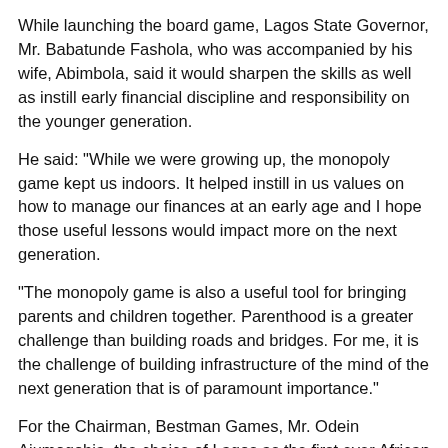While launching the board game, Lagos State Governor, Mr. Babatunde Fashola, who was accompanied by his wife, Abimbola, said it would sharpen the skills as well as instill early financial discipline and responsibility on the younger generation.
He said: "While we were growing up, the monopoly game kept us indoors. It helped instill in us values on how to manage our finances at an early age and I hope those useful lessons would impact more on the next generation.
"The monopoly game is also a useful tool for bringing parents and children together. Parenthood is a greater challenge than building roads and bridges. For me, it is the challenge of building infrastructure of the mind of the next generation that is of paramount importance."
For the Chairman, Bestman Games, Mr. Odein Ajumogobia, the choice of Lagos as the first ever African monopoly version is not misplaced as the state has been an icon of good governance.
He said: "This Lagos version of the monopoly presents the iconic landmark of the megacity and it would go a long way in financial literacy as well as create bonding time for families."
According to the Chief Executive Officer of Bestman Games,